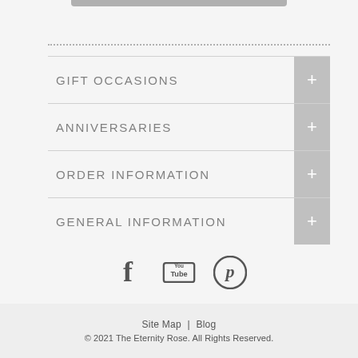GIFT OCCASIONS
ANNIVERSARIES
ORDER INFORMATION
GENERAL INFORMATION
[Figure (illustration): Social media icons: Facebook, YouTube, Pinterest]
Site verified by: GeoTrust
Site Map | Blog
© 2021 The Eternity Rose. All Rights Reserved.